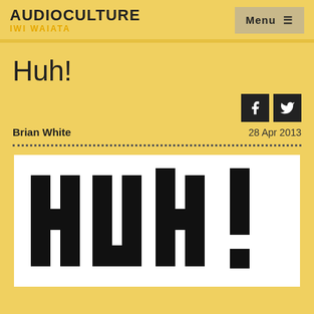AUDIOCULTURE IWI WAIATA
Huh!
Brian White
28 Apr 2013
[Figure (photo): Large blocky black text reading 'huh!' on white background, resembling a rubber stamp or cut-out lettering style.]